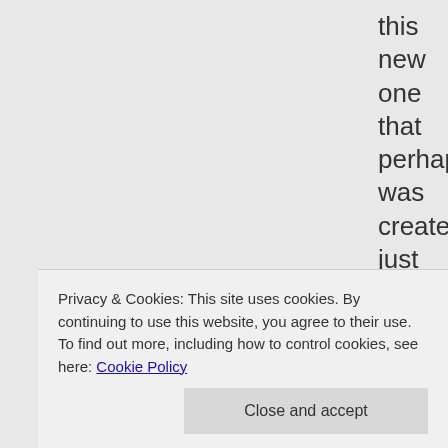this new one that perhaps was created just for this purpose?

What the hell is this? Plausible deniability now for all of them? The advisors didn't know and Barry didn't know it was fake? His mother
Privacy & Cookies: This site uses cookies. By continuing to use this website, you agree to their use.
To find out more, including how to control cookies, see here: Cookie Policy
years after his